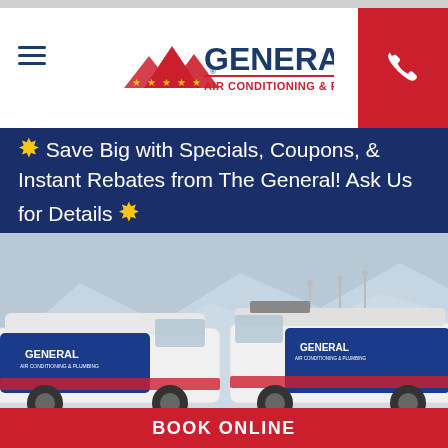[Figure (logo): General Air Conditioning & Plumbing logo with mountain and stars icon]
Save Big with Specials, Coupons, & Instant Rebates from The General! Ask Us for Details
[Figure (photo): Two General Air Conditioning & Plumbing branded white vans parked in front of desert mountains with wind turbines]
BOOK ONLINE